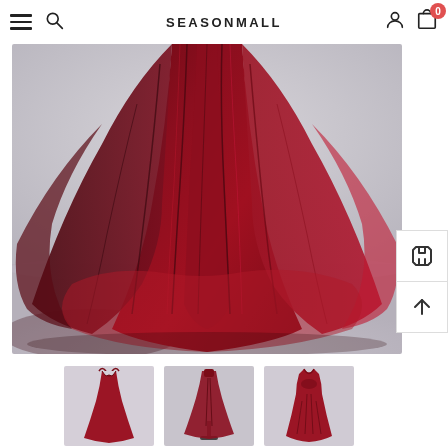SEASONMALL — navigation bar with hamburger menu, search, user account, and cart (0 items)
[Figure (photo): Main product photo: close-up of a floor-length dark red/burgundy tulle ball gown skirt on a mannequin, showing flowing pleated tulle fabric against a light grey background]
[Figure (photo): Thumbnail 1: Full-length view of a dark red/burgundy open-back prom dress with criss-cross straps]
[Figure (photo): Thumbnail 2: Full-length view of the same dress on a mannequin stand, showing silhouette]
[Figure (photo): Thumbnail 3: Full-length view of the dark red/burgundy gown with V-neckline and beaded bodice]